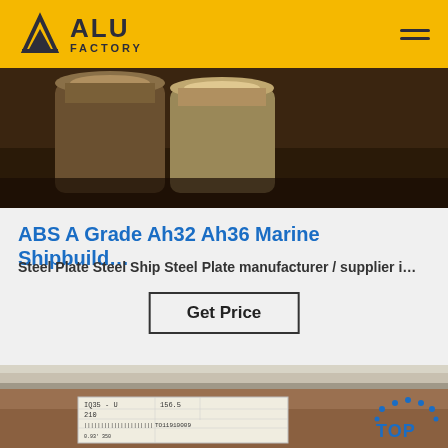ALU FACTORY
[Figure (photo): Close-up photo of metal paint cans or cylinders on a dark surface]
ABS A Grade Ah32 Ah36 Marine Shipbuild…
Steel Plate Steel Ship Steel Plate manufacturer / supplier i…
Get Price
[Figure (photo): Photo of steel plates stacked with a shipping label showing barcode and text including IQ35-U, 210, TO11910009, with a TOP badge logo in the bottom right corner]